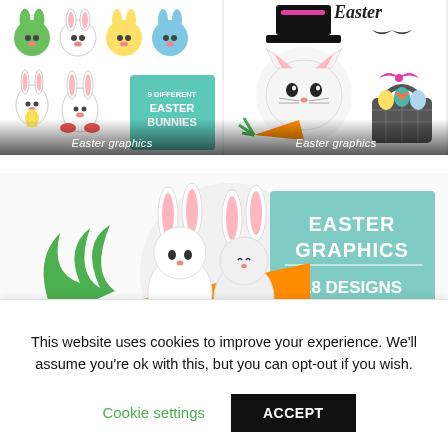[Figure (illustration): Easter graphics panel 1: colorful Easter bunny faces/characters and '9 Different Easter Bunnies' text box, with caption 'Easter graphics']
[Figure (illustration): Easter graphics panel 2: Easter cat face, 'Easter' script, Easter basket, hat, carrot, mustache, bow, with caption 'Easter graphics']
[Figure (illustration): Large Easter graphics panel: two white bunny characters sitting on a large orange carrot with green top, teal box with 'EASTER GRAPHICS 18 DESIGNS INCLUDED']
This website uses cookies to improve your experience. We'll assume you're ok with this, but you can opt-out if you wish.
Cookie settings
ACCEPT